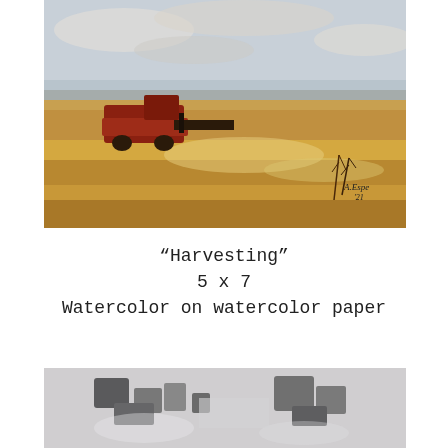[Figure (illustration): Watercolor painting of a harvesting scene: a red combine harvester in a vast golden wheat field under a pale blue-grey sky with soft clouds. An artist signature 'A.Espe 21' is visible in the lower right of the painting.]
“Harvesting”
5 x 7
Watercolor on watercolor paper
[Figure (illustration): Partial watercolor painting visible at bottom of page showing grey and white abstract shapes, possibly rocks or stones, on a light grey background.]